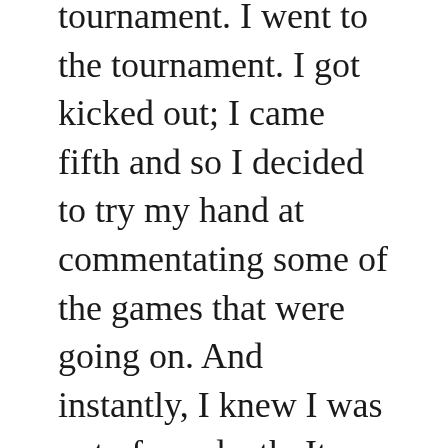tournament. I went to the tournament. I got kicked out; I came fifth and so I decided to try my hand at commentating some of the games that were going on. And instantly, I knew I was out of my depth. It was very hard to commentate, very hard to talk about the things happening in the game. Everything was so fast-paced.
I actually spent a lot of the time talking about what players did wrong, which is actually considered quite rude. And the more I think about it, the more I look at